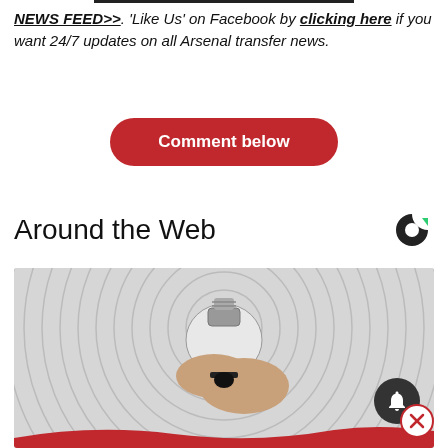NEWS FEED>>. 'Like Us' on Facebook by clicking here if you want 24/7 updates on all Arsenal transfer news.
Comment below
Around the Web
[Figure (photo): A hand unscrewing or screwing a white LED light bulb against a concentric circle patterned background]